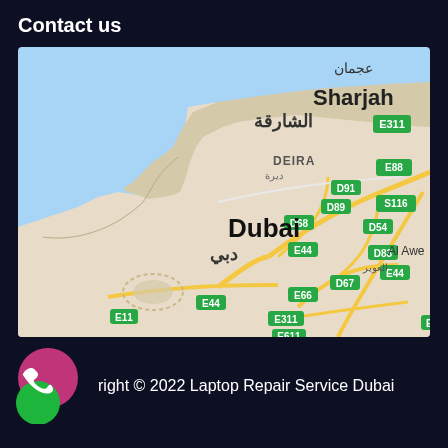Contact us
[Figure (map): Google Maps view showing Dubai and surrounding area including Sharjah, Deira, with road labels E311, E88, D91, D89, D68, D54, E44, D83, E44, D83, D67, E66, E44, E311, E11, E611, S116 and Arabic text labels. Blue water on left, beige/tan land on right.]
right © 2022 Laptop Repair Service Dubai